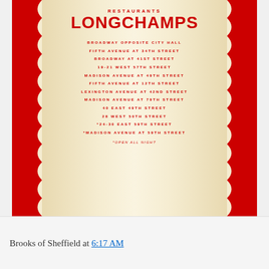[Figure (illustration): Longchamps Restaurants menu cover featuring red scalloped border design on cream/beige background with restaurant name and list of New York City locations]
Brooks of Sheffield at 6:17 AM